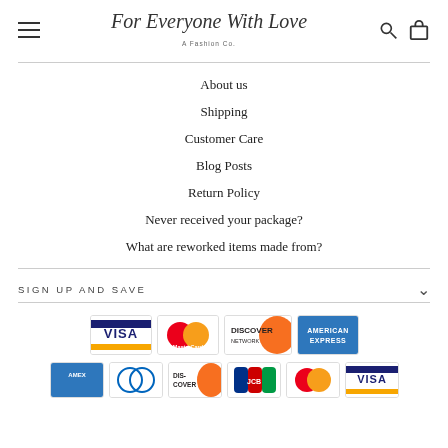For Everyone With Love — A Fashion Co.
About us
Shipping
Customer Care
Blog Posts
Return Policy
Never received your package?
What are reworked items made from?
SIGN UP AND SAVE
[Figure (other): Payment method logos: Visa, MasterCard, Discover Network, American Express (top row); Amex, Diners Club, Discover, JCB, MasterCard, Visa (bottom row)]